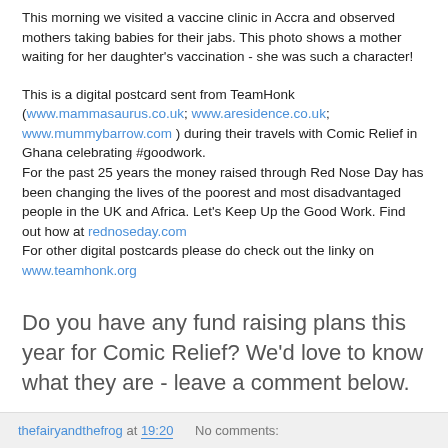This morning we visited a vaccine clinic in Accra and observed mothers taking babies for their jabs. This photo shows a mother waiting for her daughter's vaccination - she was such a character!
This is a digital postcard sent from TeamHonk (www.mammasaurus.co.uk; www.aresidence.co.uk; www.mummybarrow.com ) during their travels with Comic Relief in Ghana celebrating #goodwork.
For the past 25 years the money raised through Red Nose Day has been changing the lives of the poorest and most disadvantaged people in the UK and Africa. Let's Keep Up the Good Work. Find out how at rednoseday.com
For other digital postcards please do check out the linky on www.teamhonk.org
Do you have any fund raising plans this year for Comic Relief? We'd love to know what they are - leave a comment below.
thefairyandthefrog at 19:20   No comments: